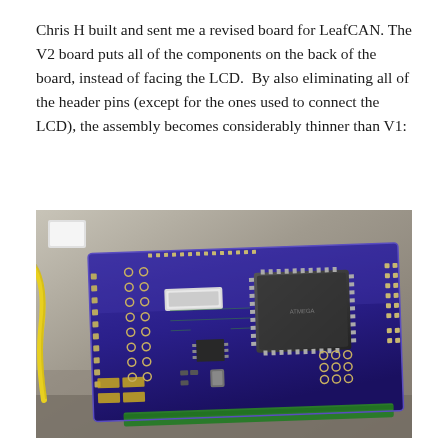Chris H built and sent me a revised board for LeafCAN. The V2 board puts all of the components on the back of the board, instead of facing the LCD.  By also eliminating all of the header pins (except for the ones used to connect the LCD), the assembly becomes considerably thinner than V1:
[Figure (photo): Photograph of the LeafCAN V2 circuit board showing a purple/blue PCB with electronic components including a large microcontroller chip, various SMD components, solder pads and through-holes, sitting on a surface with a yellow wire visible on the left and a green LCD board edge visible at the bottom right.]